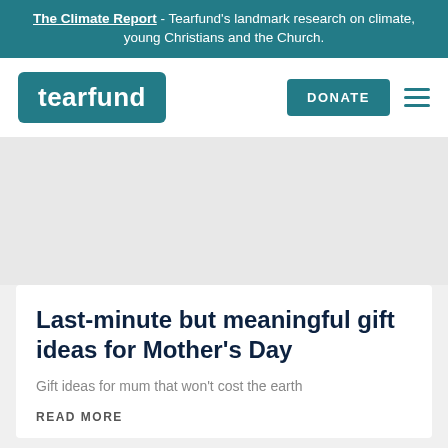The Climate Report - Tearfund's landmark research on climate, young Christians and the Church.
[Figure (logo): Tearfund logo — white text on teal rounded rectangle background, with DONATE button and hamburger menu]
[Figure (photo): Grey hero image area placeholder]
Last-minute but meaningful gift ideas for Mother's Day
Gift ideas for mum that won't cost the earth
READ MORE